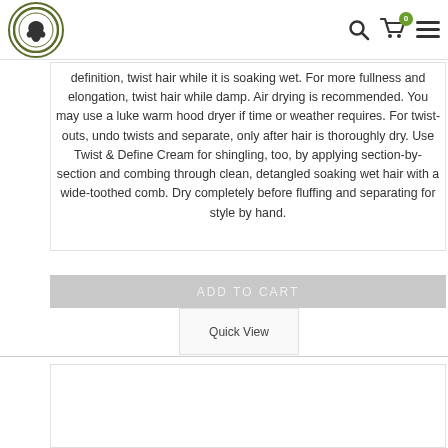Professional Hair Care Products logo with search, cart (0), and menu icons
definition, twist hair while it is soaking wet. For more fullness and elongation, twist hair while damp. Air drying is recommended. You may use a luke warm hood dryer if time or weather requires. For twist-outs, undo twists and separate, only after hair is thoroughly dry. Use Twist & Define Cream for shingling, too, by applying section-by-section and combing through clean, detangled soaking wet hair with a wide-toothed comb. Dry completely before fluffing and separating for style by hand.
ADD TO CART
Quick View
[Figure (other): Empty product card placeholder area]